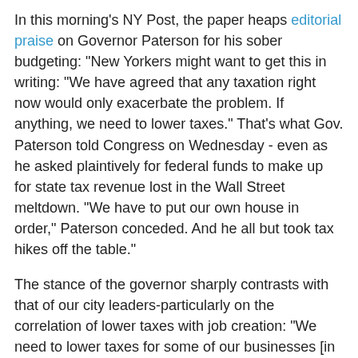In this morning's NY Post, the paper heaps editorial praise on Governor Paterson for his sober budgeting: "New Yorkers might want to get this in writing: "We have agreed that any taxation right now would only exacerbate the problem. If anything, we need to lower taxes." That's what Gov. Paterson told Congress on Wednesday - even as he asked plaintively for federal funds to make up for state tax revenue lost in the Wall Street meltdown. "We have to put our own house in order," Paterson conceded. And he all but took tax hikes off the table."
The stance of the governor sharply contrasts with that of our city leaders-particularly on the correlation of lower taxes with job creation: "We need to lower taxes for some of our businesses [in order to] create jobs," he said, "so that hundreds of thousands of New Yorkers don't leave the state, as they do every year, for other areas where the life quality is better." Paterson hit it on the head: Tax hikes will drive away the very folks who can revive the economy - and regenerate depleted tax dollars."
What's the city response to the meltdown?-a whole laundry